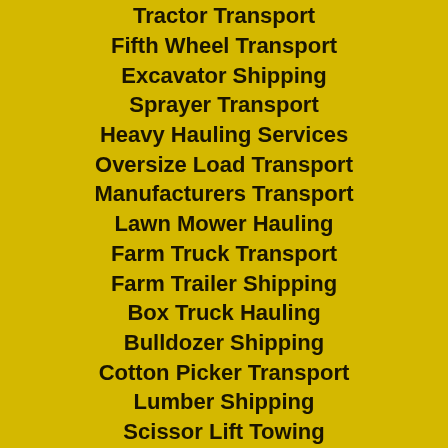Combine Shipping
Tractor Transport
Fifth Wheel Transport
Excavator Shipping
Sprayer Transport
Heavy Hauling Services
Oversize Load Transport
Manufacturers Transport
Lawn Mower Hauling
Farm Truck Transport
Farm Trailer Shipping
Box Truck Hauling
Bulldozer Shipping
Cotton Picker Transport
Lumber Shipping
Scissor Lift Towing
Dump Truck Transport